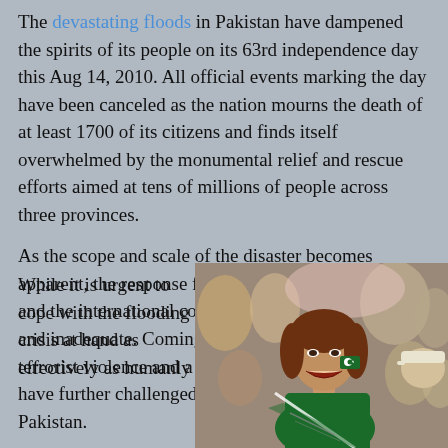The devastating floods in Pakistan have dampened the spirits of its people on its 63rd independence day this Aug 14, 2010. All official events marking the day have been canceled as the nation mourns the death of at least 1700 of its citizens and finds itself overwhelmed by the monumental relief and rescue efforts aimed at tens of millions of people across three provinces.
As the scope and scale of the disaster becomes apparent, the response from Pakistani government and the international community has been very slow and inadequate. Coming on the heels of continuing terrorist violence and a slow economy, the floods have further challenged even the greatest optimists in Pakistan.
[Figure (photo): A young woman with a Pakistani flag painted on her cheek, smiling and cheering in a crowd, likely at an independence day celebration.]
While it is urgent to cope with the flooding crisis at hand as effectively as humanly